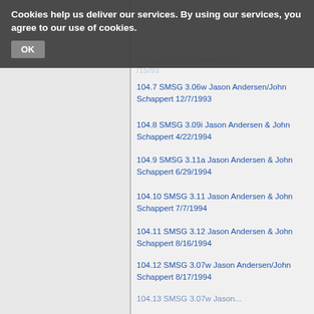Cookies help us deliver our services. By using our services, you agree to our use of cookies. OK
104.7 SMSG 3.06w Jason Andersen/John Schappert 12/7/1993
104.8 SMSG 3.09i Jason Andersen & John Schappert 4/22/1994
104.9 SMSG 3.11a Jason Andersen & John Schappert 6/29/1994
104.10 SMSG 3.11 Jason Andersen & John Schappert 7/7/1994
104.11 SMSG 3.12 Jason Andersen & John Schappert 8/16/1994
104.12 SMSG 3.07w Jason Andersen/John Schappert 8/17/1994
104.13 SMSG 3.07w Jason Andersen/John Schappert 7/2/1995
104.14 SMSG Driver v4.03 (C) Visual Concepts 5/9/1995
104.15 SMSG Driver v4.03 (C)